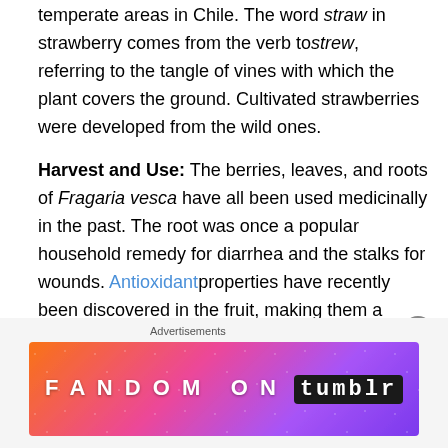temperate areas in Chile. The word straw in strawberry comes from the verb to strew, referring to the tangle of vines with which the plant covers the ground. Cultivated strawberries were developed from the wild ones.
Harvest and Use: The berries, leaves, and roots of Fragaria vesca have all been used medicinally in the past. The root was once a popular household remedy for diarrhea and the stalks for wounds. Antioxidant properties have recently been discovered in the fruit, making them a valuable preventive for cancer. The leaves are gently astringent. You can make a tea with the leaves for diarrhea, digestive upsets, and to stimulate the appetite. Also, combine the leaves with St. John's wort and
[Figure (other): Fandom on Tumblr advertisement banner with colorful gradient background (orange to purple) and decorative icons]